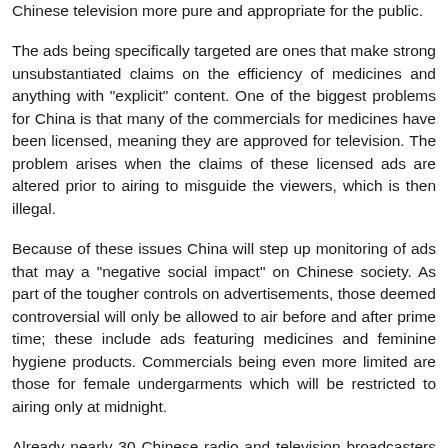Chinese television more pure and appropriate for the public.
The ads being specifically targeted are ones that make strong unsubstantiated claims on the efficiency of medicines and anything with "explicit" content. One of the biggest problems for China is that many of the commercials for medicines have been licensed, meaning they are approved for television. The problem arises when the claims of these licensed ads are altered prior to airing to misguide the viewers, which is then illegal.
Because of these issues China will step up monitoring of ads that may a "negative social impact" on Chinese society. As part of the tougher controls on advertisements, those deemed controversial will only be allowed to air before and after prime time; these include ads featuring medicines and feminine hygiene products. Commercials being even more limited are those for female undergarments which will be restricted to airing only at midnight.
Already nearly 30 Chinese radio and television broadcasters have together released a self-discipline agreement promising